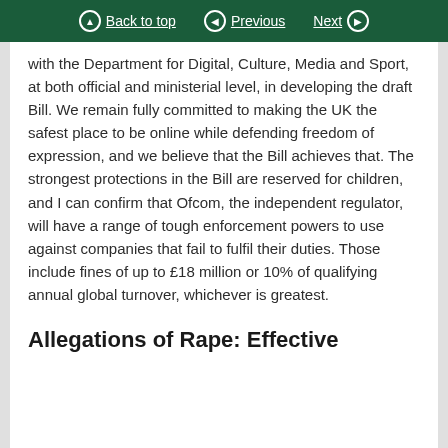Back to top  Previous  Next
with the Department for Digital, Culture, Media and Sport, at both official and ministerial level, in developing the draft Bill. We remain fully committed to making the UK the safest place to be online while defending freedom of expression, and we believe that the Bill achieves that. The strongest protections in the Bill are reserved for children, and I can confirm that Ofcom, the independent regulator, will have a range of tough enforcement powers to use against companies that fail to fulfil their duties. Those include fines of up to £18 million or 10% of qualifying annual global turnover, whichever is greatest.
Allegations of Rape: Effective